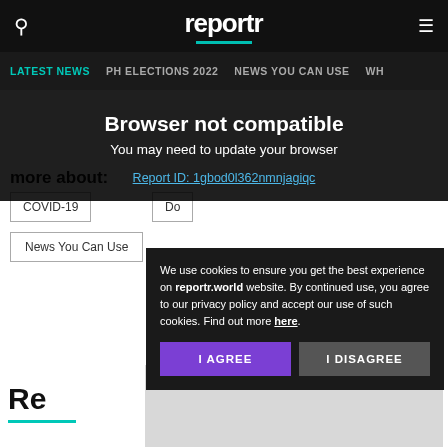reportr
LATEST NEWS | PH ELECTIONS 2022 | NEWS YOU CAN USE | WH...
Browser not compatible
You may need to update your browser
Report ID: 1gbod0l362nmnjagiqc
more about:
COVID-19
Do...
News You Can Use
We use cookies to ensure you get the best experience on reportr.world website. By continued use, you agree to our privacy policy and accept our use of such cookies. Find out more here.
I AGREE
I DISAGREE
Re...